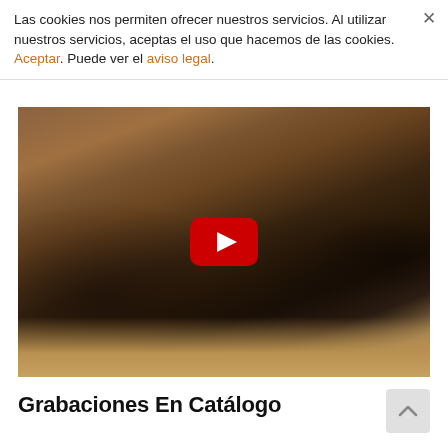Las cookies nos permiten ofrecer nuestros servicios. Al utilizar nuestros servicios, aceptas el uso que hacemos de las cookies. Aceptar. Puede ver el aviso legal.
[Figure (screenshot): YouTube video thumbnail showing an orchestra performing on stage in a concert hall with warm wood-paneled walls. A large red YouTube play button is centered over the image.]
Grabaciones En Catálogo